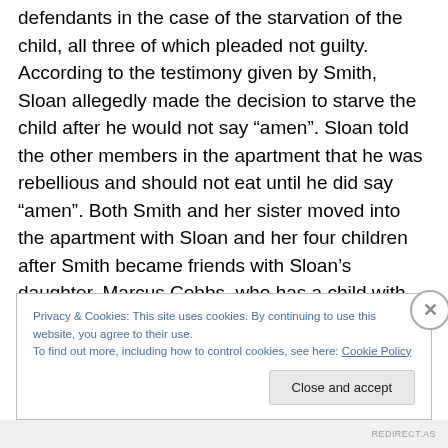defendants in the case of the starvation of the child, all three of which pleaded not guilty. According to the testimony given by Smith, Sloan allegedly made the decision to starve the child after he would not say “amen”. Sloan told the other members in the apartment that he was rebellious and should not eat until he did say “amen”. Both Smith and her sister moved into the apartment with Sloan and her four children after Smith became friends with Sloan’s daughter. Marcus Cobbs, who has a child with Danielle Smith’s sister moved in after and another friend of Smith, Ria Ramikissoon, who is the mother of the 16
Privacy & Cookies: This site uses cookies. By continuing to use this website, you agree to their use.
To find out more, including how to control cookies, see here: Cookie Policy
REDIRECT.AS